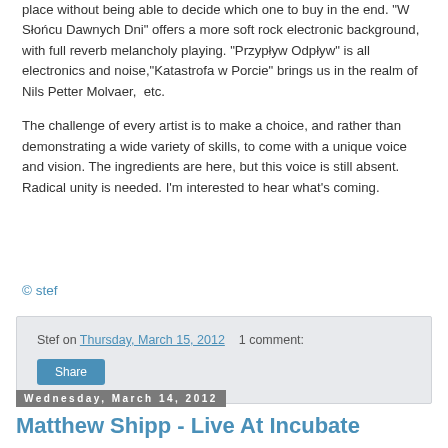place without being able to decide which one to buy in the end. "W Słońcu Dawnych Dni" offers a more soft rock electronic background, with full reverb melancholy playing. "Przypływ Odpływ" is all electronics and noise,"Katastrofa w Porcie" brings us in the realm of Nils Petter Molvaer,  etc.
The challenge of every artist is to make a choice, and rather than demonstrating a wide variety of skills, to come with a unique voice and vision. The ingredients are here, but this voice is still absent. Radical unity is needed. I'm interested to hear what's coming.
© stef
Stef on Thursday, March 15, 2012   1 comment:
Share
Wednesday, March 14, 2012
Matthew Shipp - Live At Incubate